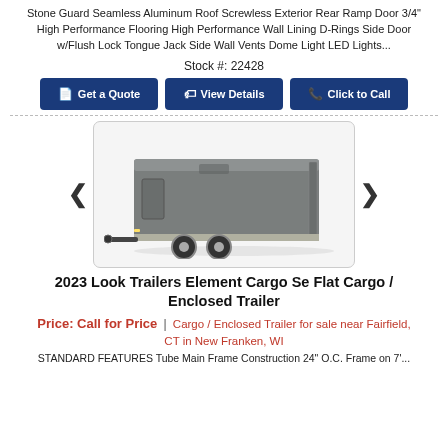Stone Guard Seamless Aluminum Roof Screwless Exterior Rear Ramp Door 3/4" High Performance Flooring High Performance Wall Lining D-Rings Side Door w/Flush Lock Tongue Jack Side Wall Vents Dome Light LED Lights...
Stock #: 22428
[Figure (screenshot): Three blue buttons: Get a Quote, View Details, Click to Call]
[Figure (photo): Photo of a gray enclosed cargo trailer with dual axle wheels on a white background, inside a rounded rectangle border]
2023 Look Trailers Element Cargo Se Flat Cargo / Enclosed Trailer
Price: Call for Price | Cargo / Enclosed Trailer for sale near Fairfield, CT in New Franken, WI
STANDARD FEATURES Tube Main Frame Construction 24" O.C. Frame on 7'...